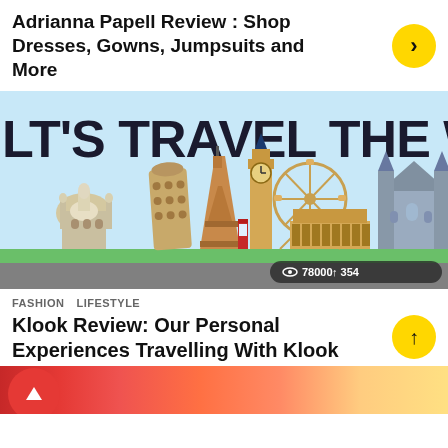Adrianna Papell Review : Shop Dresses, Gowns, Jumpsuits and More
[Figure (illustration): Travel-themed illustrated banner showing world landmarks: Taj Mahal, Leaning Tower of Pisa, Eiffel Tower, Big Ben, Ferris wheel, Colosseum arches, and a gothic cathedral, with text 'LET'S TRAVEL THE WORLD' and view/share stats overlay showing 78000 views and 354 shares]
FASHION   LIFESTYLE
Klook Review: Our Personal Experiences Travelling With Klook